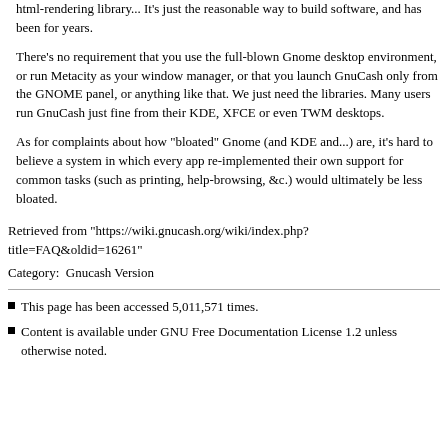html-rendering library... It's just the reasonable way to build software, and has been for years.
There's no requirement that you use the full-blown Gnome desktop environment, or run Metacity as your window manager, or that you launch GnuCash only from the GNOME panel, or anything like that. We just need the libraries. Many users run GnuCash just fine from their KDE, XFCE or even TWM desktops.
As for complaints about how "bloated" Gnome (and KDE and...) are, it's hard to believe a system in which every app re-implemented their own support for common tasks (such as printing, help-browsing, &c.) would ultimately be less bloated.
Retrieved from "https://wiki.gnucash.org/wiki/index.php?title=FAQ&oldid=16261"
Category:  Gnucash Version
This page has been accessed 5,011,571 times.
Content is available under GNU Free Documentation License 1.2 unless otherwise noted.